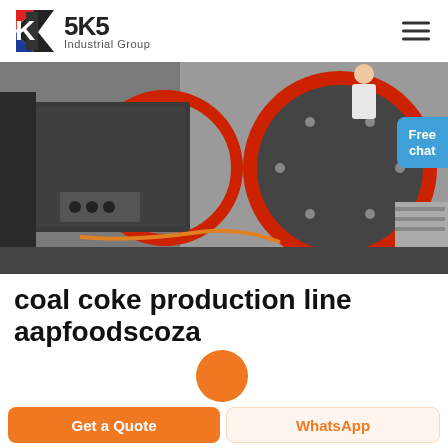SKS Industrial Group
[Figure (photo): Industrial machinery - coal coke production line equipment, showing a large cylindrical rotating drum/mill with red rings, dark grey metal casing with bolts, control panel visible on the left side]
coal coke production line aapfoodscoza